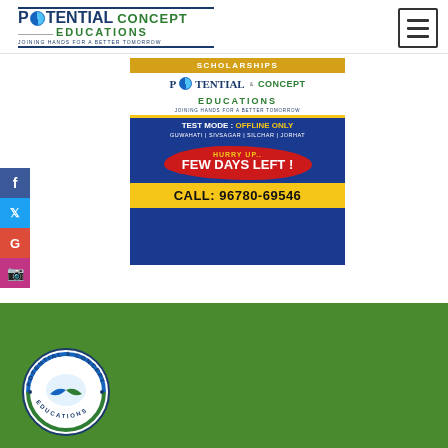[Figure (logo): Potential Concept Educations logo with globe icon and tagline 'Joining Hands for a Better Tomorrow']
[Figure (illustration): Hamburger menu button in top right corner]
[Figure (infographic): Advertisement banner for Potential & Concept Educations scholarships. Blue background. Shows: SCHOLARSHIPS header, logo, TEST MODE: OFFLINE ONLY, locations GUWAHATI | SIVSAGAR | SILCHAR | JORHAT, HURRY UP.. FEW DAYS LEFT!, CALL: 96780-69546]
[Figure (infographic): Social media sidebar with Facebook, Twitter, Google, and Instagram icons]
[Figure (logo): Circular Potential & Concept Educations logo on green footer background]